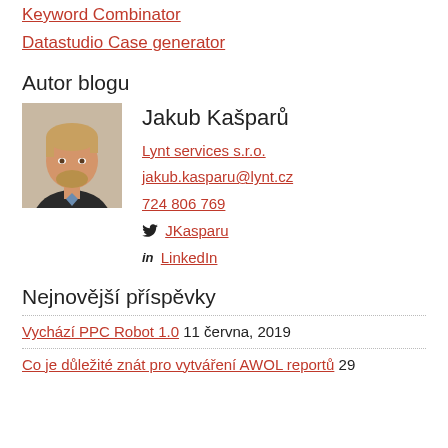Keyword Combinator
Datastudio Case generator
Autor blogu
[Figure (photo): Portrait photo of Jakub Kašparů, a man with light brown hair and beard wearing a dark sweater]
Jakub Kašparů
Lynt services s.r.o.
jakub.kasparu@lynt.cz
724 806 769
🐦 JKasparu
in LinkedIn
Nejnovější příspěvky
Vychází PPC Robot 1.0  11 června, 2019
Co je důležité znát pro vytváření AWOL reportů  29